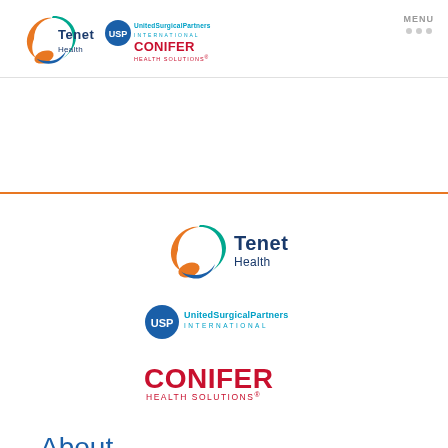[Figure (logo): Tenet Health logo in header, teal and orange circular icon with navy text]
[Figure (logo): United Surgical Partners International logo in header, blue circle USP icon with teal text]
[Figure (logo): Conifer Health Solutions logo in header, red bold text]
MENU
[Figure (logo): Tenet Health large logo, teal and orange circular icon with navy text]
[Figure (logo): United Surgical Partners International logo, blue circle USP icon with teal text]
[Figure (logo): Conifer Health Solutions logo, red bold CONIFER text with HEALTH SOLUTIONS subtitle]
About